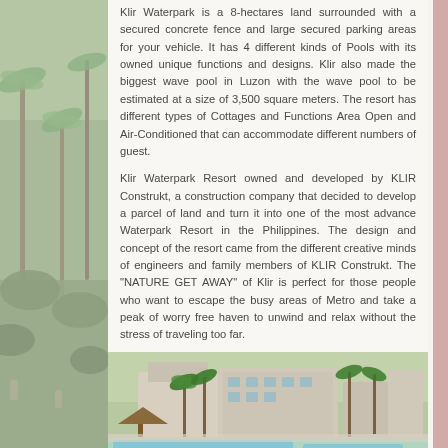Klir Waterpark is a 8-hectares land surrounded with a secured concrete fence and large secured parking areas for your vehicle. It has 4 different kinds of Pools with its owned unique functions and designs. Klir also made the biggest wave pool in Luzon with the wave pool to be estimated at a size of 3,500 square meters. The resort has different types of Cottages and Functions Area Open and Air-Conditioned that can accommodate different numbers of guest.
Klir Waterpark Resort owned and developed by KLIR Construkt, a construction company that decided to develop a parcel of land and turn it into one of the most advance Waterpark Resort in the Philippines. The design and concept of the resort came from the different creative minds of engineers and family members of KLIR Construkt. The "NATURE GET AWAY" of Klir is perfect for those people who want to escape the busy areas of Metro and take a peak of worry free haven to unwind and relax without the stress of traveling too far.
[Figure (photo): Aerial/wide view of Klir Waterpark Resort showing the pool area, palm trees, resort buildings, and grounds with people.]